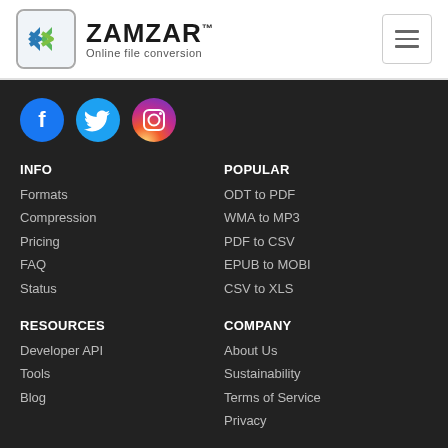ZAMZAR™ Online file conversion
[Figure (logo): Zamzar logo with blue and green chevron arrows in a rounded square, beside the text ZAMZAR Online file conversion]
INFO
Formats
Compression
Pricing
FAQ
Status
POPULAR
ODT to PDF
WMA to MP3
PDF to CSV
EPUB to MOBI
CSV to XLS
RESOURCES
Developer API
Tools
Blog
COMPANY
About Us
Sustainability
Terms of Service
Privacy